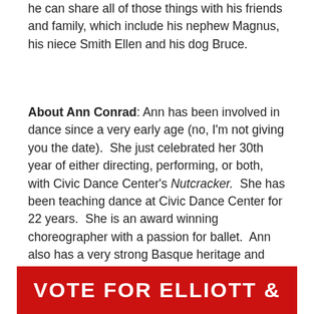he can share all of those things with his friends and family, which include his nephew Magnus, his niece Smith Ellen and his dog Bruce.
About Ann Conrad: Ann has been involved in dance since a very early age (no, I'm not giving you the date). She just celebrated her 30th year of either directing, performing, or both, with Civic Dance Center's Nutcracker. She has been teaching dance at Civic Dance Center for 22 years. She is an award winning choreographer with a passion for ballet. Ann also has a very strong Basque heritage and continued her dance and music training while attending many Basque music camps. Ann has two beautiful daughters, Natalie and Chloe; a son, Christian; and her loving husband, Justin. She is so excited to be included in the Dancing at the Stars family.
VOTE FOR ELLIOTT &